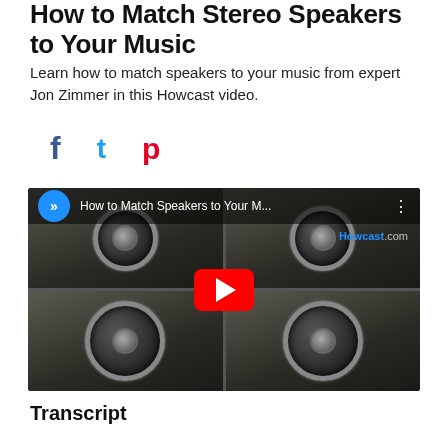How to Match Stereo Speakers to Your Music
Learn how to match speakers to your music from expert Jon Zimmer in this Howcast video.
[Figure (screenshot): YouTube video thumbnail showing stereo speakers with play button overlay. Video title: 'How to Match Speakers to Your M...' with Howcast.com branding.]
Transcript